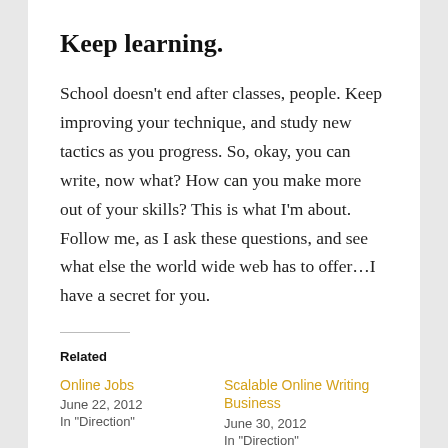Keep learning.
School doesn't end after classes, people. Keep improving your technique, and study new tactics as you progress. So, okay, you can write, now what? How can you make more out of your skills? This is what I'm about. Follow me, as I ask these questions, and see what else the world wide web has to offer…I have a secret for you.
Related
Online Jobs
June 22, 2012
In "Direction"
Scalable Online Writing Business
June 30, 2012
In "Direction"